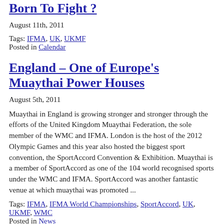Born To Fight ?
August 11th, 2011
Tags: IFMA, UK, UKMF
Posted in Calendar
England – One of Europe's Muaythai Power Houses
August 5th, 2011
Muaythai in England is growing stronger and stronger through the efforts of the United Kingdom Muaythai Federation, the sole member of the WMC and IFMA. London is the host of the 2012 Olympic Games and this year also hosted the biggest sport convention, the SportAccord Convention & Exhibition. Muaythai is a member of SportAccord as one of the 104 world recognised sports under the WMC and IFMA. SportAccord was another fantastic venue at which muaythai was promoted ...
Tags: IFMA, IFMA World Championships, SportAccord, UK, UKMF, WMC
Posted in News